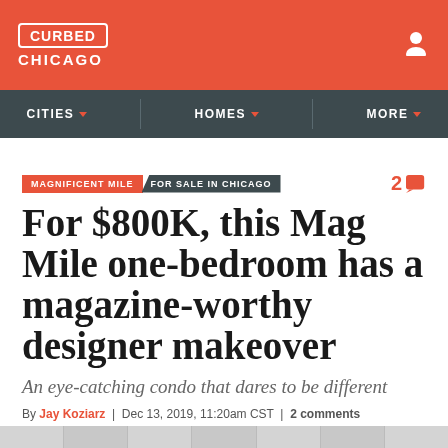CURBED CHICAGO
CITIES | HOMES | MORE
MAGNIFICENT MILE  FOR SALE IN CHICAGO  2
For $800K, this Mag Mile one-bedroom has a magazine-worthy designer makeover
An eye-catching condo that dares to be different
By Jay Koziarz | Dec 13, 2019, 11:20am CST | 2 comments